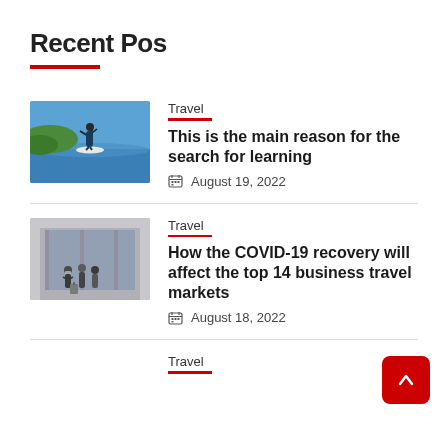Recent Pos
Travel | This is the main reason for the search for learning | August 19, 2022
Travel | How the COVID-19 recovery will affect the top 14 business travel markets | August 18, 2022
Travel